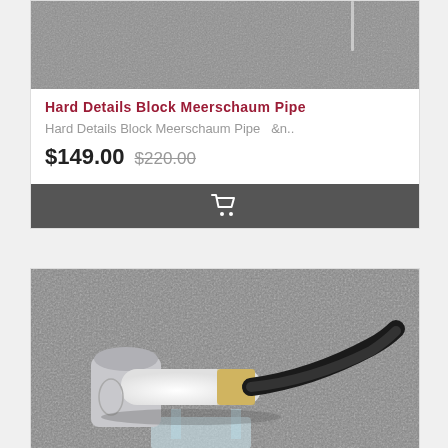[Figure (photo): Top cropped photo showing grey fur background texture, part of a meerschaum pipe product card]
Hard Details Block Meerschaum Pipe
Hard Details Block Meerschaum Pipe    &n..
$149.00  $220.00
[Figure (other): Shopping cart button bar, dark grey background with white cart icon]
[Figure (photo): Photo of a white meerschaum smoking pipe with black stem on a grey fur background, displayed on a clear stand]